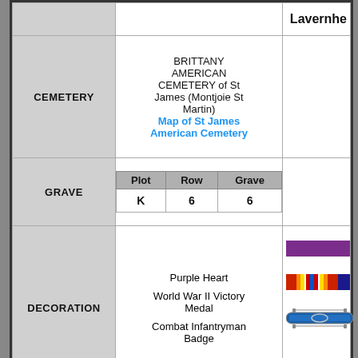|  | CEMETERY |  |
| --- | --- | --- |
|  | BRITTANY AMERICAN CEMETERY of St James (Montjoie St Martin)
Map of St James American Cemetery | Lavernhe |
| GRAVE | Plot K  Row 6  Grave 6 |  |
| DECORATION | Purple Heart
World War II Victory Medal
Combat Infantryman Badge | ribbons/badges |
[Figure (illustration): Bottom section showing military unit patches and insignia: Department of the Army seal, blue shield unit patch with gold arrow, circular USARPAC patch, and a small green pin/badge]